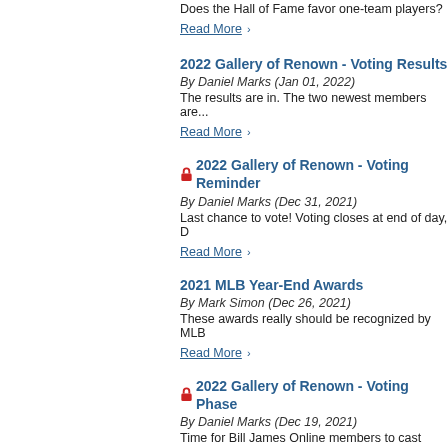Does the Hall of Fame favor one-team players?
Read More ›
2022 Gallery of Renown - Voting Results
By Daniel Marks (Jan 01, 2022)
The results are in. The two newest members are...
Read More ›
🔒 2022 Gallery of Renown - Voting Reminder
By Daniel Marks (Dec 31, 2021)
Last chance to vote! Voting closes at end of day, D
Read More ›
2021 MLB Year-End Awards
By Mark Simon (Dec 26, 2021)
These awards really should be recognized by MLB
Read More ›
🔒 2022 Gallery of Renown - Voting Phase
By Daniel Marks (Dec 19, 2021)
Time for Bill James Online members to cast your v
Read More ›
Appreciating Mark Buehrle & Tim Hudson